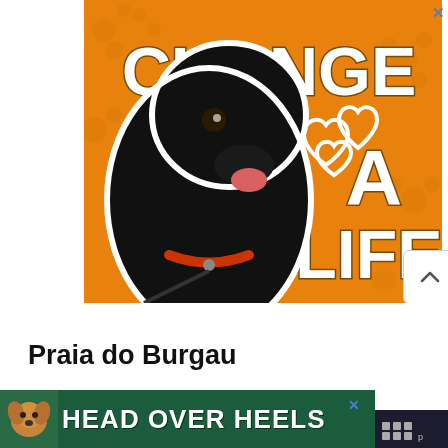[Figure (infographic): Orange advertisement banner with a black labrador dog wearing a red collar and leash, with the text 'CHANGE A LIFE' in white/brown bold letters and heart icons. A blue X close button is at the top right.]
[Figure (infographic): White rounded square scroll-up button with a caret/chevron pointing upward.]
[Figure (infographic): Circular share button with a share/network icon.]
[Figure (infographic): 'WHAT'S NEXT' panel showing a thumbnail of Pastel de Nata food with label 'Pastel de Nata:...']
Praia do Burgau
...ches the... ay. On
[Figure (infographic): Dark green advertisement banner at the bottom with a dog illustration and text 'HEAD OVER HEELS' in bold white letters with a blue X close button.]